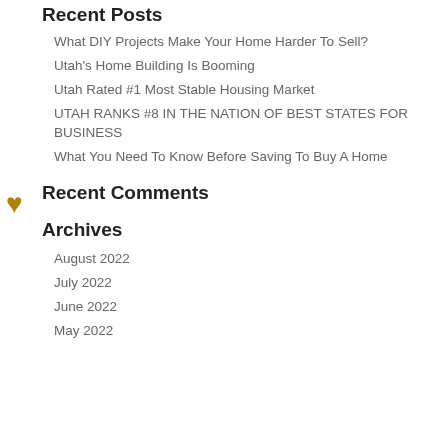Recent Posts
What DIY Projects Make Your Home Harder To Sell?
Utah's Home Building Is Booming
Utah Rated #1 Most Stable Housing Market
UTAH RANKS #8 IN THE NATION OF BEST STATES FOR BUSINESS
What You Need To Know Before Saving To Buy A Home
Recent Comments
Archives
August 2022
July 2022
June 2022
May 2022